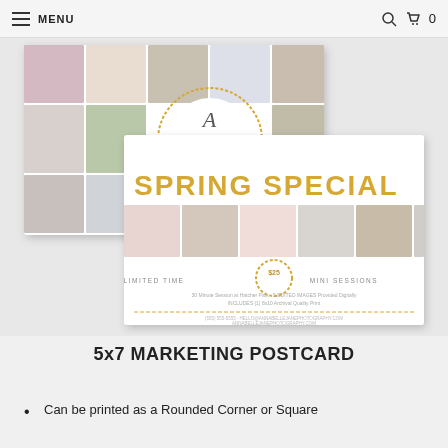MENU  [search icon] [cart icon] 0
[Figure (illustration): Two overlapping photography marketing postcard templates. Back card shows a photo collage grid with a circular gold dot logo (A / ANNABELLE JANE PHOTOGRAPHY) in the center. Front card shows 'SPRING SPECIAL' in gold text, a row of photography thumbnails, a circular gold badge with '$25', text 'LIMITED TIME MINI SESSIONS', fine print about 30 Minute Session, and contact information.]
5x7 MARKETING POSTCARD
Can be printed as a Rounded Corner or Square